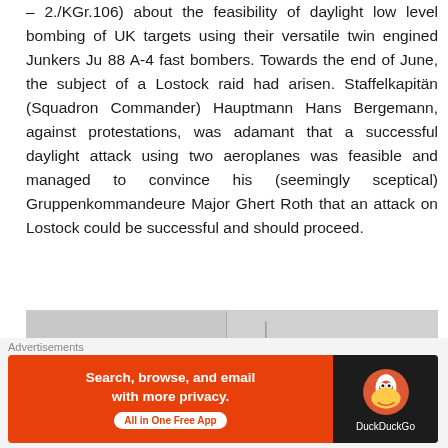– 2./KGr.106) about the feasibility of daylight low level bombing of UK targets using their versatile twin engined Junkers Ju 88 A-4 fast bombers. Towards the end of June, the subject of a Lostock raid had arisen. Staffelkapitän (Squadron Commander) Hauptmann Hans Bergemann, against protestations, was adamant that a successful daylight attack using two aeroplanes was feasible and managed to convince his (seemingly sceptical) Gruppenkommandeure Major Ghert Roth that an attack on Lostock could be successful and should proceed.
[Figure (photo): A partially visible historical photograph, likely of an aircraft or related military scene, shown in grayscale. The image is cropped and partially obscured.]
Advertisements
[Figure (other): DuckDuckGo advertisement banner: 'Search, browse, and email with more privacy. All in One Free App' with DuckDuckGo logo on dark background.]